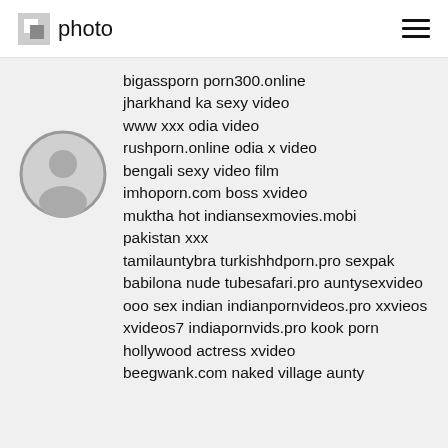photo
[Figure (illustration): Default user avatar circle with person silhouette icon, gray colors]
bigassporn porn300.online
jharkhand ka sexy video
www xxx odia video
rushporn.online odia x video
bengali sexy video film
imhoporn.com boss xvideo
muktha hot indiansexmovies.mobi
pakistan xxx
tamilauntybra turkishhdporn.pro sexpak
babilona nude tubesafari.pro auntysexvideo
ooo sex indian indianpornvideos.pro xxvieos
xvideos7 indiapornvids.pro kook porn
hollywood actress xvideo
beegwank.com naked village aunty